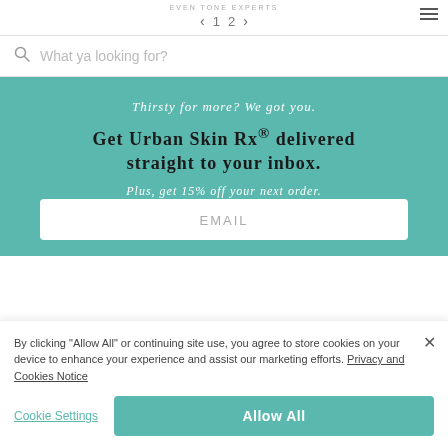EVEN TONE EXPERTS  < 1 2 >
What ya looking for?
Thirsty for more? We got you.
Get Urban Skin Rx® delivered straight to your inbox.
Plus, get 15% off your next order.
EMAIL
By clicking "Allow All" or continuing site use, you agree to store cookies on your device to enhance your experience and assist our marketing efforts. Privacy and Cookies Notice
Cookie Settings
Allow All